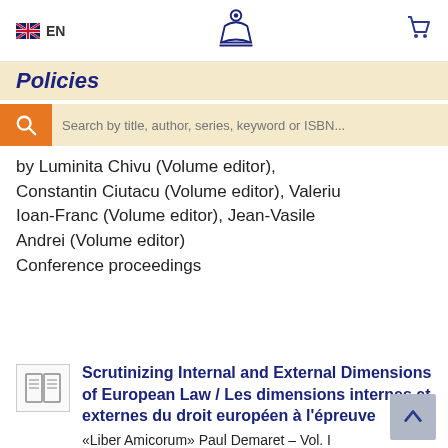EN | [logo] | [cart]
Policies
Search by title, author, series, keyword or ISBN...
by Luminita Chivu (Volume editor), Constantin Ciutacu (Volume editor), Valeriu Ioan-Franc (Volume editor), Jean-Vasile Andrei (Volume editor)
Conference proceedings
Scrutinizing Internal and External Dimensions of European Law / Les dimensions internes et externes du droit européen à l'épreuve
«Liber Amicorum» Paul Demaret – Vol. I
by Inge Govaere (Volume editor), Dominik